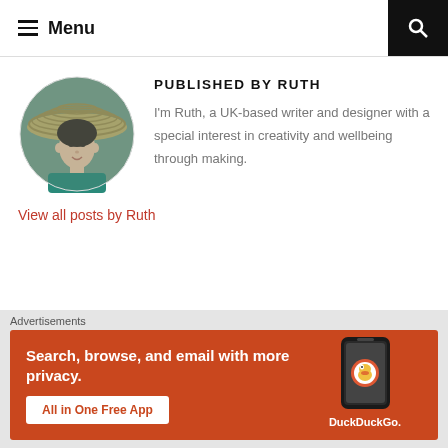Menu
PUBLISHED BY RUTH
[Figure (photo): Circular portrait photo of Ruth, a young woman wearing a wide-brimmed striped hat and teal top]
I'm Ruth, a UK-based writer and designer with a special interest in creativity and wellbeing through making.
View all posts by Ruth
[Figure (other): Circle X close button]
Advertisements
[Figure (other): DuckDuckGo advertisement banner: Search, browse, and email with more privacy. All in One Free App. Shows smartphone with DuckDuckGo logo.]